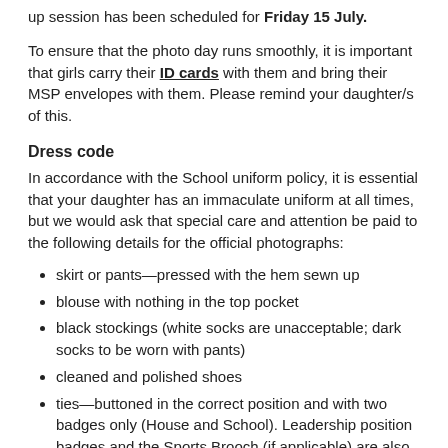up session has been scheduled for Friday 15 July.
To ensure that the photo day runs smoothly, it is important that girls carry their ID cards with them and bring their MSP envelopes with them. Please remind your daughter/s of this.
Dress code
In accordance with the School uniform policy, it is essential that your daughter has an immaculate uniform at all times, but we would ask that special care and attention be paid to the following details for the official photographs:
skirt or pants—pressed with the hem sewn up
blouse with nothing in the top pocket
black stockings (white socks are unacceptable; dark socks to be worn with pants)
cleaned and polished shoes
ties—buttoned in the correct position and with two badges only (House and School). Leadership position badges and the Sports Brooch (if applicable) are also required
no school-made badges, e.g. Galentine's Day badge to be worn
blazers with two buttons are required (no jumpers, vests, or